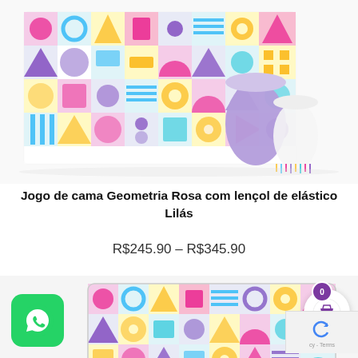[Figure (photo): Jogo de cama (bed set) with geometric pink and colorful pattern, with rolled lavender/lilac elastic sheet]
Jogo de cama Geometria Rosa com lençol de elástico Lilás
R$245.90 – R$345.90
[Figure (photo): Geometric pattern pillow and bed sheet set with colorful shapes (circles, triangles, rectangles) in pink, purple, yellow, teal on white background with small yellow item at bottom]